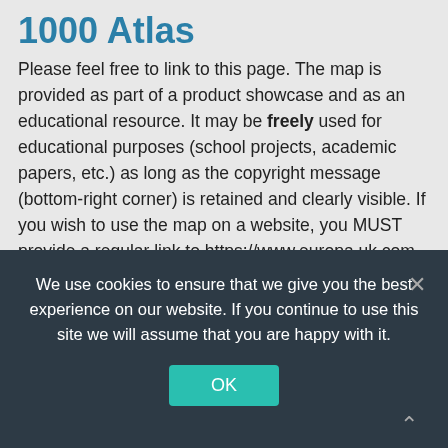1000 Atlas
Please feel free to link to this page. The map is provided as part of a product showcase and as an educational resource. It may be freely used for educational purposes (school projects, academic papers, etc.) as long as the copyright message (bottom-right corner) is retained and clearly visible. If you wish to use the map on a website, you MUST provide a regular link to https://www.europa.uk.com (a “nofollow” link is not acceptable). For educational purposes, you do not need to seek explicit permission for reproduction. If, however, you have a particularly interesting project, we would love to hear from you! Commercial use (whether revenue
We use cookies to ensure that we give you the best experience on our website. If you continue to use this site we will assume that you are happy with it.